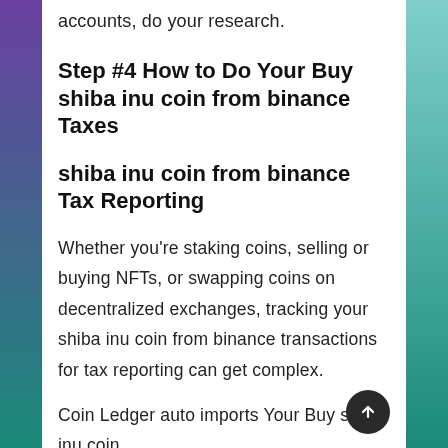accounts, do your research.
Step #4 How to Do Your Buy shiba inu coin from binance Taxes
shiba inu coin from binance Tax Reporting
Whether you're staking coins, selling or buying NFTs, or swapping coins on decentralized exchanges, tracking your shiba inu coin from binance transactions for tax reporting can get complex.
Coin Ledger auto imports Your Buy shiba inu coin